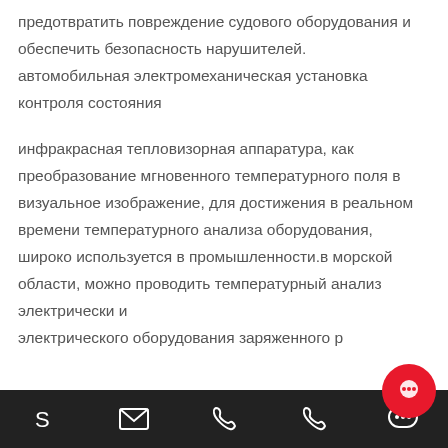предотвратить повреждение судового оборудования и обеспечить безопасность нарушителей. автомобильная электромеханическая установка контроля состояния

инфракрасная тепловизорная аппаратура, как преобразование мгновенного температурного поля в визуальное изображение, для достижения в реальном времени температурного анализа оборудования, широко используется в промышленности.в морской области, можно проводить температурный анализ электрического оборудования заряженного р...
[toolbar with icons: Skype, email, phone, phone, chat]